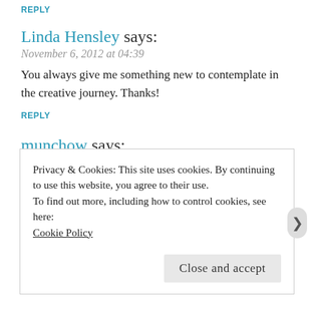REPLY
Linda Hensley says:
November 6, 2012 at 04:39
You always give me something new to contemplate in the creative journey. Thanks!
REPLY
munchow says:
November 28, 2012 at 21:24
Thank you, Linda.
Privacy & Cookies: This site uses cookies. By continuing to use this website, you agree to their use.
To find out more, including how to control cookies, see here:
Cookie Policy
Close and accept